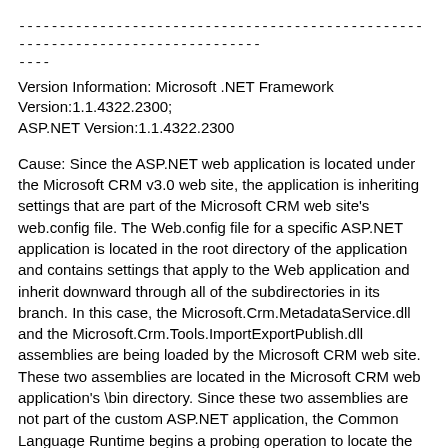--------------------------------------------------------------------------------
----
Version Information: Microsoft .NET Framework Version:1.1.4322.2300; ASP.NET Version:1.1.4322.2300
Cause: Since the ASP.NET web application is located under the Microsoft CRM v3.0 web site, the application is inheriting settings that are part of the Microsoft CRM web site's web.config file. The Web.config file for a specific ASP.NET application is located in the root directory of the application and contains settings that apply to the Web application and inherit downward through all of the subdirectories in its branch. In this case, the Microsoft.Crm.MetadataService.dll and the Microsoft.Crm.Tools.ImportExportPublish.dll assemblies are being loaded by the Microsoft CRM web site. These two assemblies are located in the Microsoft CRM web application's \bin directory. Since these two assemblies are not part of the custom ASP.NET application, the Common Language Runtime begins a probing operation to locate the two assemblies. Since the assemblies are not installed into